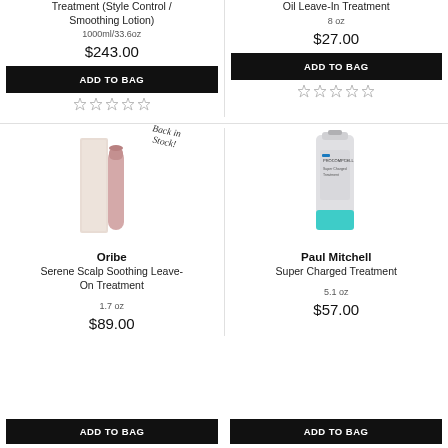Treatment (Style Control / Smoothing Lotion)
1000ml/33.6oz
$243.00
ADD TO BAG
Oil Leave-In Treatment
8 oz
$27.00
ADD TO BAG
[Figure (photo): Oribe Serene Scalp Soothing Leave-On Treatment product image with 'Back in Stock!' label]
Oribe
Serene Scalp Soothing Leave-On Treatment
1.7 oz
$89.00
[Figure (photo): Paul Mitchell Super Charged Treatment product image - white tube with teal cap]
Paul Mitchell
Super Charged Treatment
5.1 oz
$57.00
ADD TO BAG
ADD TO BAG